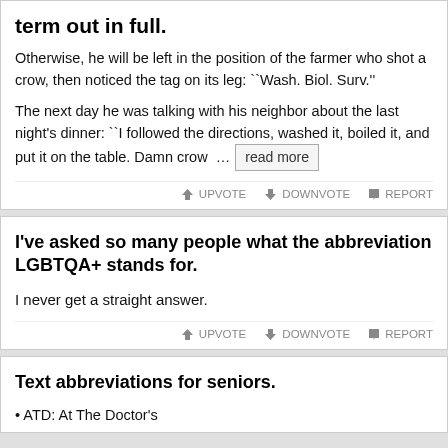term out in full.
Otherwise, he will be left in the position of the farmer who shot a crow, then noticed the tag on its leg: ``Wash. Biol. Surv.''
The next day he was talking with his neighbor about the last night's dinner: ``I followed the directions, washed it, boiled it, and put it on the table. Damn crow ... read more
UPVOTE  DOWNVOTE  REPORT
I've asked so many people what the abbreviation LGBTQA+ stands for.
I never get a straight answer.
UPVOTE  DOWNVOTE  REPORT
Text abbreviations for seniors.
• ATD: At The Doctor's